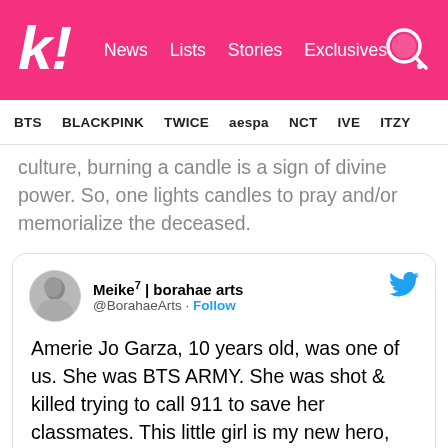k! News Lists Stories Exclusives [search]
BTS  BLACKPINK  TWICE  aespa  NCT  IVE  ITZY
culture, burning a candle is a sign of divine power. So, one lights candles to pray and/or memorialize the deceased.
[Figure (screenshot): Embedded tweet from @BorahaeArts (Meike^7 | borahae arts): 'Amerie Jo Garza, 10 years old, was one of us. She was BTS ARMY. She was shot & killed trying to call 911 to save her classmates. This little girl is my new hero, and I'll be lighting a candle for her, her classmates, and her teachers']